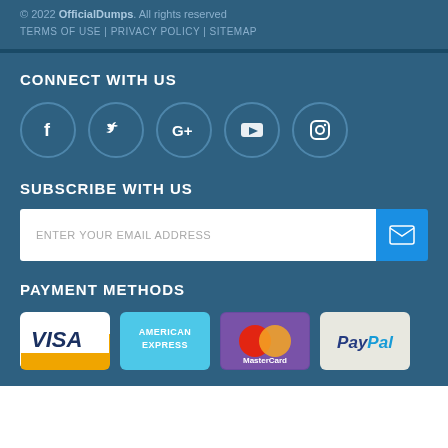© 2022 OfficialDumps. All rights reserved
TERMS OF USE | PRIVACY POLICY | SITEMAP
CONNECT WITH US
[Figure (illustration): Social media icons: Facebook, Twitter, Google+, YouTube, Instagram — circular outlined icons on dark blue background]
SUBSCRIBE WITH US
[Figure (illustration): Email subscription input field with placeholder 'ENTER YOUR EMAIL ADDRESS' and a blue submit button with envelope icon]
PAYMENT METHODS
[Figure (illustration): Payment method logos: Visa, American Express, MasterCard, PayPal]